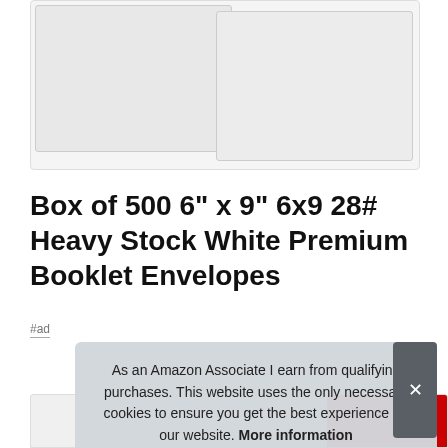[Figure (photo): Product image showing two overlapping white envelopes on a light gray background]
Box of 500 6" x 9" 6x9 28# Heavy Stock White Premium Booklet Envelopes
#ad
As an Amazon Associate I earn from qualifying purchases. This website uses the only necessary cookies to ensure you get the best experience on our website. More information
[Figure (screenshot): Bottom strip showing partial product listing thumbnails and a red branded element]